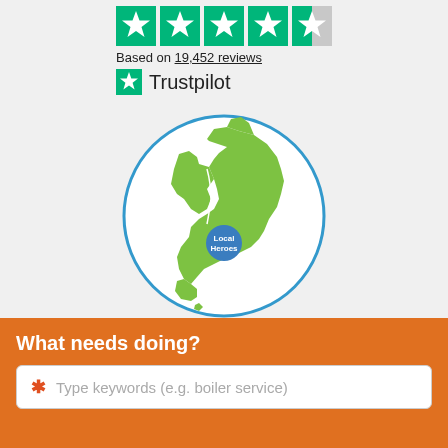[Figure (infographic): Trustpilot 4.5 star rating with 5 green stars (last one half-filled), text 'Based on 19,452 reviews', and Trustpilot logo with green star icon]
[Figure (map): Circular map of England and Wales in green on white background with blue border circle, and a blue teardrop location pin labeled 'Local Heroes' in the south-central area]
What needs doing?
Type keywords (e.g. boiler service)